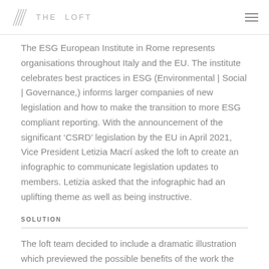THE LOFT
The ESG European Institute in Rome represents organisations throughout Italy and the EU. The institute celebrates best practices in ESG (Environmental | Social | Governance,) informs larger companies of new legislation and how to make the transition to more ESG compliant reporting. With the announcement of the significant ‘CSRD’ legislation by the EU in April 2021, Vice President Letizia Macrí asked the loft to create an infographic to communicate legislation updates to members. Letizia asked that the infographic had an uplifting theme as well as being instructive.
SOLUTION
The loft team decided to include a dramatic illustration which previewed the possible benefits of the work the